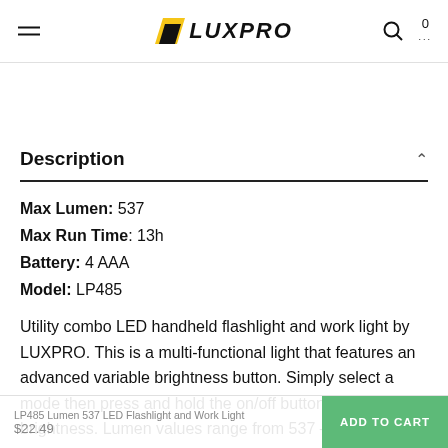LUXPRO (navigation header with menu, logo, search, and cart)
Description
Max Lumen: 537
Max Run Time: 13h
Battery: 4 AAA
Model: LP485
Utility combo LED handheld flashlight and work light by LUXPRO. This is a multi-functional light that features an advanced variable brightness button. Simply select a mode then press and hold the on/off button to adjust the brightness. Lumen values range from 537 – 100 lumens on the Flashlight mode and 416 – 63 lumens on the Area Light mode. This light also has an emergency Red Flashing Beacon mode
LP485 Lumen 537 LED Flashlight and Work Light  $22.49  ADD TO CART